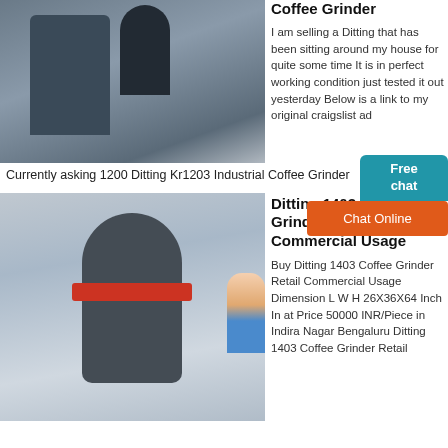[Figure (photo): Industrial coffee grinder facility — large machinery with pipes, conveyors, and industrial equipment in a warehouse setting]
Coffee Grinder
I am selling a Ditting that has been sitting around my house for quite some time It is in perfect working condition just tested it out yesterday Below is a link to my original craigslist ad
Currently asking 1200 Ditting Kr1203 Industrial Coffee Grinder
[Figure (photo): Ditting 1403 Coffee Grinder — large industrial cylindrical grinding machine with red accent rings, in a commercial facility]
Ditting 1403 Coffee Grinder Retail Commercial Usage
Buy Ditting 1403 Coffee Grinder Retail Commercial Usage Dimension L W H 26X36X64 Inch In at Price 50000 INR/Piece in Indira Nagar Bengaluru Ditting 1403 Coffee Grinder Retail